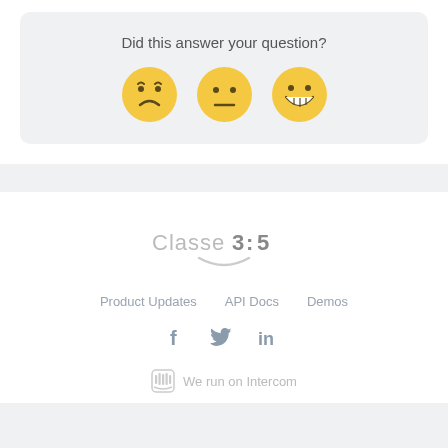Did this answer your question?
[Figure (illustration): Three emoji faces: sad/frowning face, neutral face, and happy/grinning face arranged horizontally as a feedback rating widget]
[Figure (logo): Classe3:5 logo with a smile arc underneath]
Product Updates   API Docs   Demos
[Figure (illustration): Social media icons: Facebook (f), Twitter (bird), LinkedIn (in)]
We run on Intercom